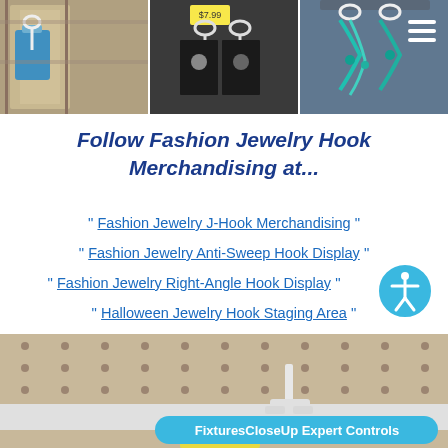[Figure (photo): Three photos of fashion jewelry hook merchandising displays in a retail store]
Follow Fashion Jewelry Hook Merchandising at...
" Fashion Jewelry J-Hook Merchandising "
" Fashion Jewelry Anti-Sweep Hook Display "
" Fashion Jewelry Right-Angle Hook Display "
" Halloween Jewelry Hook Staging Area "
[Figure (photo): Close-up photo of a pegboard with a white hook/clip fixture and a yellow price tag, with FixturesCloseUp Expert Controls overlay button]